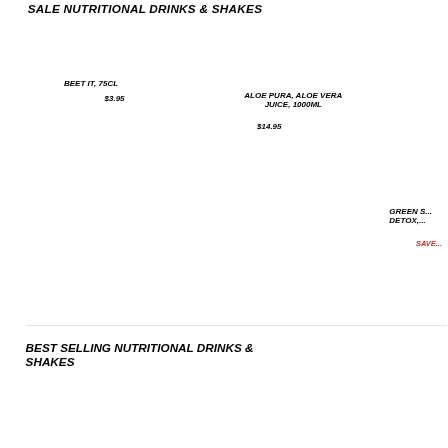SALE NUTRITIONAL DRINKS & SHAKES
BEET IT, 75CL
$3.95
ALOE PURA, ALOE VERA JUICE, 1000ML
$14.95
GREEN S... DETOX,...
SAVE...
BEST SELLING NUTRITIONAL DRINKS & SHAKES